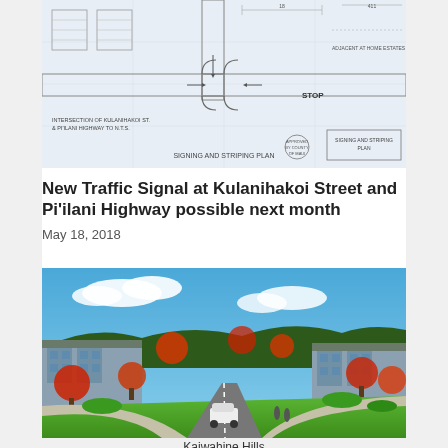[Figure (schematic): Engineering/traffic signal signing and striping plan blueprint drawing showing intersection of Kulanihakoi Street and Pi'ilani Highway with road markings, arrows, and labels including 'STOP' and 'SIGNING AND STRIPING PLAN']
New Traffic Signal at Kulanihakoi Street and Pi'ilani Highway possible next month
May 18, 2018
[Figure (illustration): Architectural rendering of Kaiwahine Hills development showing a commercial/mixed-use building complex with parking lot, landscaping, red flowering trees, and a road with a white car in the foreground, under a blue sky.]
Kaiwahine Hills